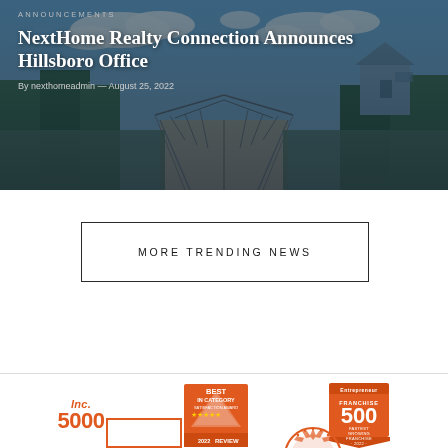[Figure (photo): Hero image of a wooden pedestrian bridge with metal railings, surrounded by trees and houses, with a partly cloudy sky. Dark overlay with text overlay showing announcement details.]
ANNOUNCEMENTS
NextHome Realty Connection Announces Hillsboro Office
By nexthomeadmin — August 25, 2022
MORE TRENDING NEWS
[Figure (logo): Inc. 5000 logo in orange]
[Figure (logo): Best in Category Satisfaction Award 2022 badge in orange]
[Figure (logo): Entrepreneur Franchise 500 Fastest Growing Franchise 2022 badge in orange]
[Figure (logo): Partial orange bordered logo at bottom left]
[Figure (logo): Partial orange starburst/seal logo at bottom center]